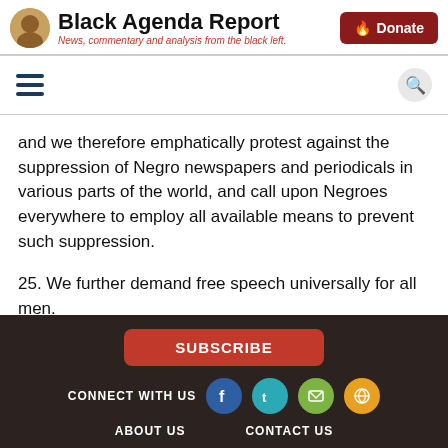Black Agenda Report — News, commentary and analysis from the black left.
and we therefore emphatically protest against the suppression of Negro newspapers and periodicals in various parts of the world, and call upon Negroes everywhere to employ all available means to prevent such suppression.
25. We further demand free speech universally for all men.
26. We hereby protest against the publication of scandalous and inflammatory articles by an alien press tending to create racial strife and the exhibition of picture films showing the Negro as a cannibal.
SUBSCRIBE | CONNECT WITH US | ABOUT US | CONTACT US